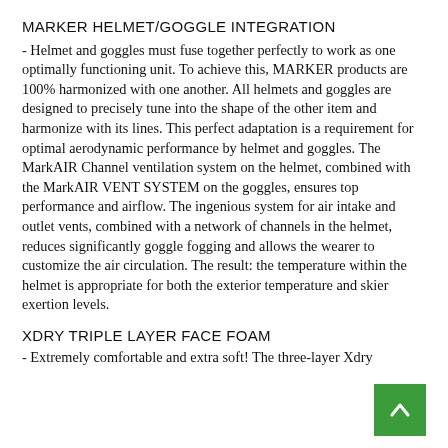MARKER HELMET/GOGGLE INTEGRATION
- Helmet and goggles must fuse together perfectly to work as one optimally functioning unit. To achieve this, MARKER products are 100% harmonized with one another. All helmets and goggles are designed to precisely tune into the shape of the other item and harmonize with its lines. This perfect adaptation is a requirement for optimal aerodynamic performance by helmet and goggles. The MarkAIR Channel ventilation system on the helmet, combined with the MarkAIR VENT SYSTEM on the goggles, ensures top performance and airflow. The ingenious system for air intake and outlet vents, combined with a network of channels in the helmet, reduces significantly goggle fogging and allows the wearer to customize the air circulation. The result: the temperature within the helmet is appropriate for both the exterior temperature and skier exertion levels.
XDRY TRIPLE LAYER FACE FOAM
- Extremely comfortable and extra soft! The three-layer Xdry